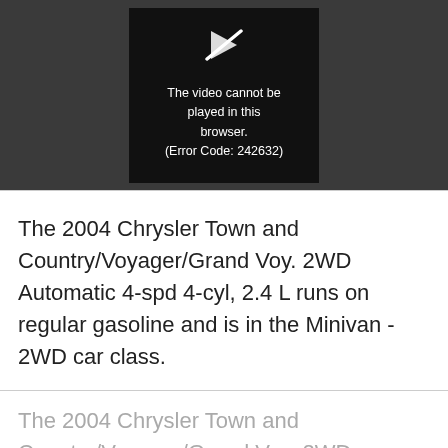[Figure (screenshot): Video player area showing a black box with a broken/unavailable video icon and the error message: 'The video cannot be played in this browser. (Error Code: 242632)']
The 2004 Chrysler Town and Country/Voyager/Grand Voy. 2WD Automatic 4-spd 4-cyl, 2.4 L runs on regular gasoline and is in the Minivan - 2WD car class.
The 2004 Chrysler Town and Country/Voyager/Grand Voy. 2WD